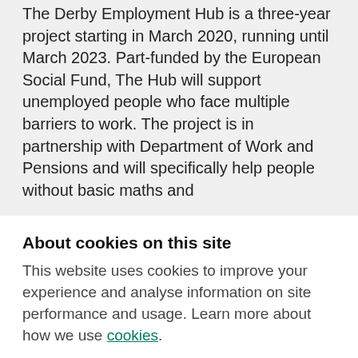The Derby Employment Hub is a three-year project starting in March 2020, running until March 2023. Part-funded by the European Social Fund, The Hub will support unemployed people who face multiple barriers to work. The project is in partnership with Department of Work and Pensions and will specifically help people without basic maths and
About cookies on this site
This website uses cookies to improve your experience and analyse information on site performance and usage. Learn more about how we use cookies.
Allow all cookies
Cookie settings